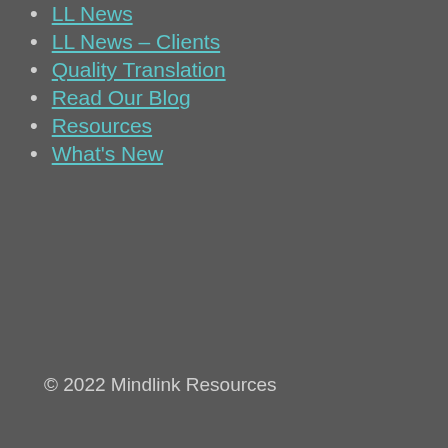LL News
LL News – Clients
Quality Translation
Read Our Blog
Resources
What's New
© 2022 Mindlink Resources